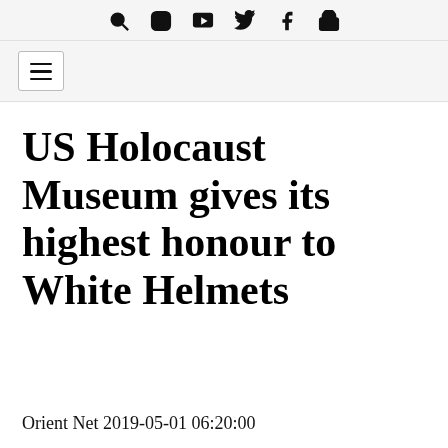Search Instagram YouTube Twitter Facebook Radio icons
[Figure (other): Hamburger menu button (three horizontal lines) inside a bordered box]
US Holocaust Museum gives its highest honour to White Helmets
Orient Net 2019-05-01 06:20:00